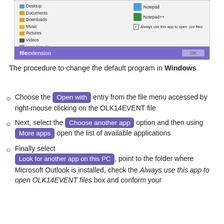[Figure (screenshot): Windows file open dialog screenshot showing folder list on left (Desktop, Documents, Downloads, Music, Pictures, Videos, Local Disk) and app list on right (Notepad, Notepad++) with 'Always use this app to open .zzz files' checkbox, and a purple bar at bottom with fileextension brand and OK button]
The procedure to change the default program in Windows
Choose the [Open with] entry from the file menu accessed by right-mouse clicking on the OLK14EVENT file
Next, select the [Choose another app] option and then using [More apps] open the list of available applications
Finally select [Look for another app on this PC], point to the folder where Microsoft Outlook is installed, check the Always use this app to open OLK14EVENT files box and conform your